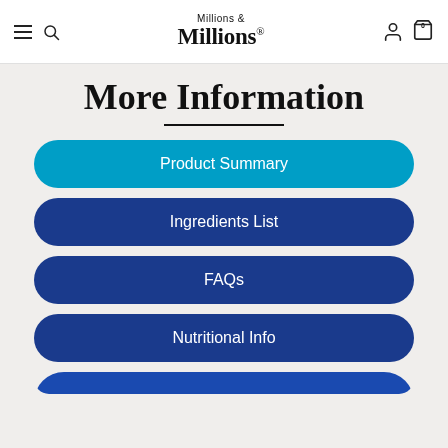Millions & Millions®
More Information
Product Summary
Ingredients List
FAQs
Nutritional Info
Reviews (partially visible)